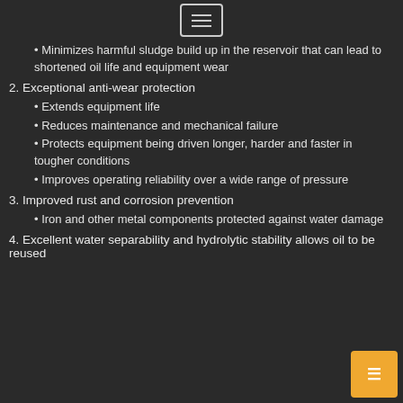[Figure (other): Menu/list icon in a rounded rectangle box]
Minimizes harmful sludge build up in the reservoir that can lead to shortened oil life and equipment wear
2. Exceptional anti-wear protection
Extends equipment life
Reduces maintenance and mechanical failure
Protects equipment being driven longer, harder and faster in tougher conditions
Improves operating reliability over a wide range of pressure
3. Improved rust and corrosion prevention
Iron and other metal components protected against water damage
4. Excellent water separability and hydrolytic stability allows oil to be reused